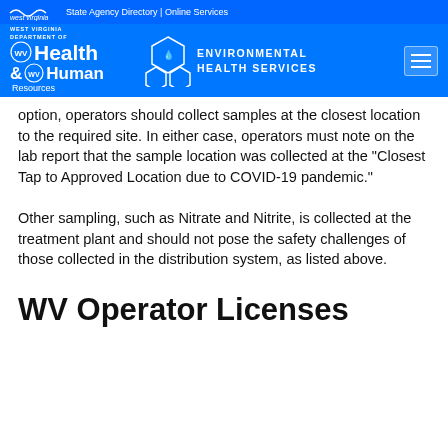west virginia | State Agency Directory | Online Services
[Figure (logo): West Virginia Department of Health and Human Resources logo with Environmental Health Services branding on blue background]
option, operators should collect samples at the closest location to the required site. In either case, operators must note on the lab report that the sample location was collected at the "Closest Tap to Approved Location due to COVID-19 pandemic."
Other sampling, such as Nitrate and Nitrite, is collected at the treatment plant and should not pose the safety challenges of those collected in the distribution system, as listed above.
WV Operator Licenses